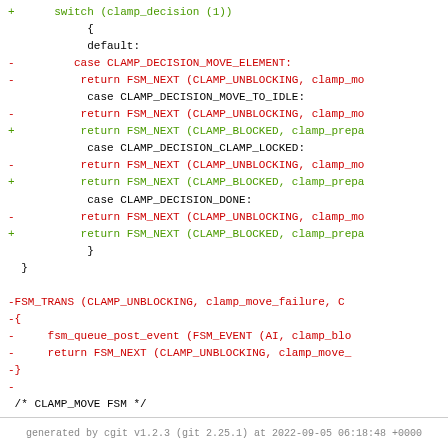Code diff showing changes to clamp FSM state machine transitions, including switch statement with cases for CLAMP_DECISION_MOVE_ELEMENT, CLAMP_DECISION_MOVE_TO_IDLE, CLAMP_DECISION_CLAMP_LOCKED, CLAMP_DECISION_DONE, and FSM_TRANS blocks.
generated by cgit v1.2.3 (git 2.25.1) at 2022-09-05 06:18:48 +0000